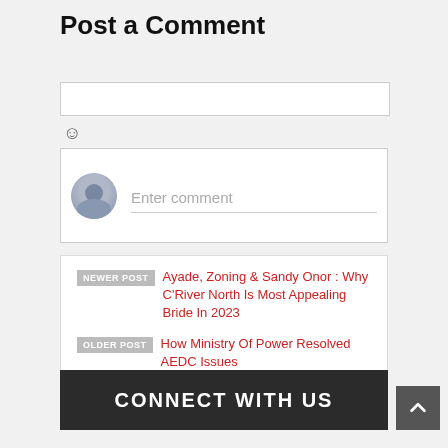Post a Comment
Enter comment
NEWER POST  Ayade, Zoning & Sandy Onor : Why C'River North Is Most Appealing Bride In 2023
OLDER POST  How Ministry Of Power Resolved AEDC Issues
CONNECT WITH US